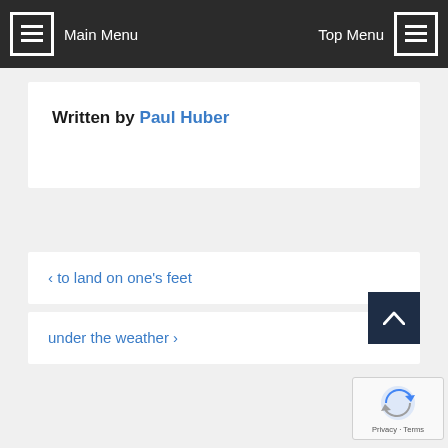Main Menu | Top Menu
Written by Paul Huber
< to land on one's feet
under the weather >
[Figure (logo): reCAPTCHA widget with blue/grey arrow icon and Privacy · Terms text]